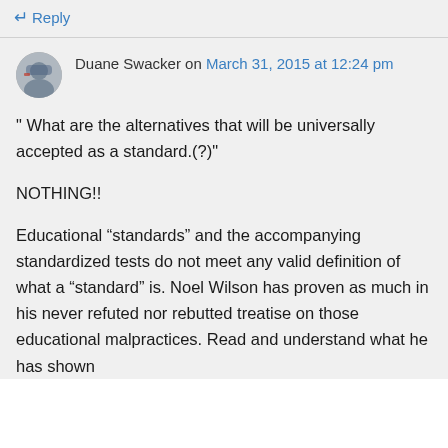↵ Reply
Duane Swacker on March 31, 2015 at 12:24 pm
" What are the alternatives that will be universally accepted as a standard.(?)"
NOTHING!!
Educational “standards” and the accompanying standardized tests do not meet any valid definition of what a “standard” is. Noel Wilson has proven as much in his never refuted nor rebutted treatise on those educational malpractices. Read and understand what he has shown